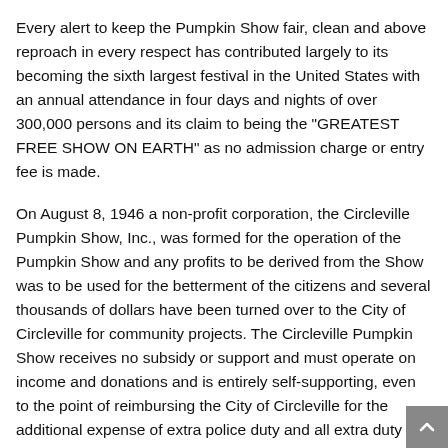Every alert to keep the Pumpkin Show fair, clean and above reproach in every respect has contributed largely to its becoming the sixth largest festival in the United States with an annual attendance in four days and nights of over 300,000 persons and its claim to being the "GREATEST FREE SHOW ON EARTH" as no admission charge or entry fee is made.
On August 8, 1946 a non-profit corporation, the Circleville Pumpkin Show, Inc., was formed for the operation of the Pumpkin Show and any profits to be derived from the Show was to be used for the betterment of the citizens and several thousands of dollars have been turned over to the City of Circleville for community projects. The Circleville Pumpkin Show receives no subsidy or support and must operate on income and donations and is entirely self-supporting, even to the point of reimbursing the City of Circleville for the additional expense of extra police duty and all extra duty help employed by the City for the purpose of conducting the Circleville Pumpkin Show.